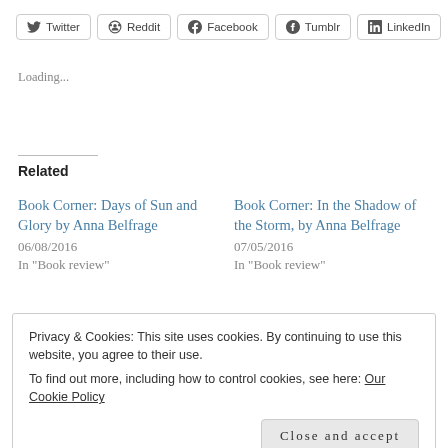[Figure (other): Social share buttons: Twitter, Reddit, Facebook, Tumblr, LinkedIn]
Loading...
Related
Book Corner: Days of Sun and Glory by Anna Belfrage
06/08/2016
In "Book review"
Book Corner: In the Shadow of the Storm, by Anna Belfrage
07/05/2016
In "Book review"
Privacy & Cookies: This site uses cookies. By continuing to use this website, you agree to their use.
To find out more, including how to control cookies, see here: Our Cookie Policy
Close and accept